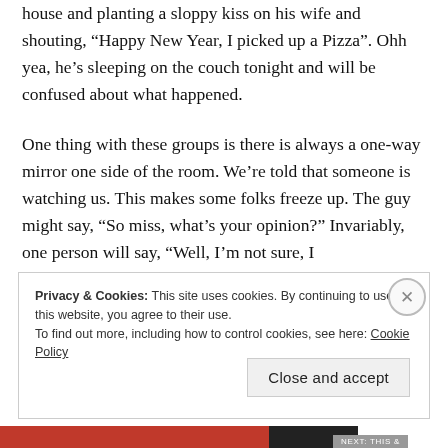house and planting a sloppy kiss on his wife and shouting, “Happy New Year, I picked up a Pizza”. Ohh yea, he’s sleeping on the couch tonight and will be confused about what happened.
One thing with these groups is there is always a one-way mirror one side of the room. We’re told that someone is watching us. This makes some folks freeze up. The guy might say, “So miss, what’s your opinion?” Invariably, one person will say, “Well, I’m not sure, I
Privacy & Cookies: This site uses cookies. By continuing to use this website, you agree to their use.
To find out more, including how to control cookies, see here: Cookie Policy